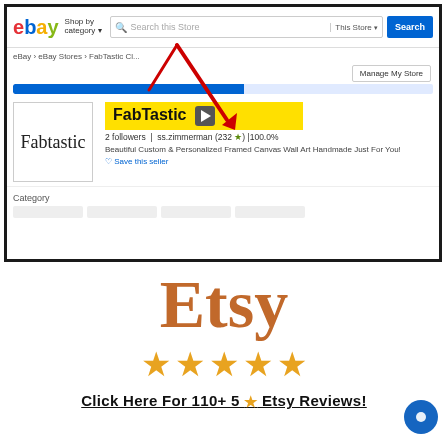[Figure (screenshot): eBay store screenshot showing FabTastic store page with store logo, yellow highlighted store name 'FabTastic', 2 followers, ss.zimmerman (232 star) 100.0% feedback, store description 'Beautiful Custom & Personalized Framed Canvas Wall Art Handmade Just For You!', Save this seller link, and Category section. Red arrow annotation pointing to FabTastic store name area.]
[Figure (logo): Etsy logo in large orange serif font]
[Figure (infographic): Five orange star rating icons]
Click Here For 110+ 5 ★ Etsy Reviews!